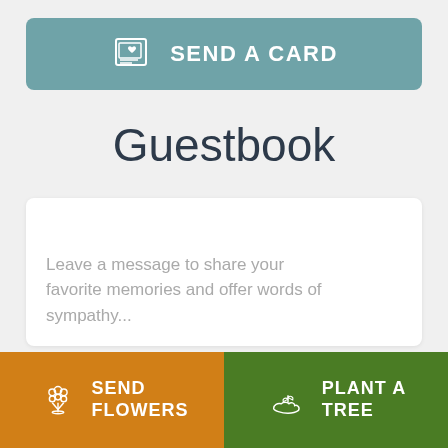[Figure (infographic): Teal/blue-green button with a greeting card icon and text SEND A CARD]
Guestbook
Leave a message to share your favorite memories and offer words of sympathy...
[Figure (infographic): Orange button with flower bouquet icon and text SEND FLOWERS]
[Figure (infographic): Green button with plant/tree icon and text PLANT A TREE]